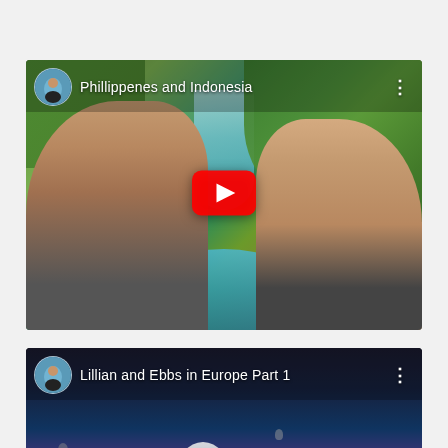[Figure (screenshot): YouTube video thumbnail for 'Phillippenes and Indonesia' showing two people (a man and a woman) in front of a tropical waterfall with lush green foliage. Channel avatar in top-left corner, three-dot menu in top-right, red YouTube play button in center.]
[Figure (screenshot): YouTube video thumbnail for 'Lillian and Ebbs in Europe Part 1' showing a sunset scene with hot air balloons and a silhouetted figure. Channel avatar in top-left corner, three-dot menu in top-right, red YouTube play button in center. Scroll-up button in bottom-right corner.]